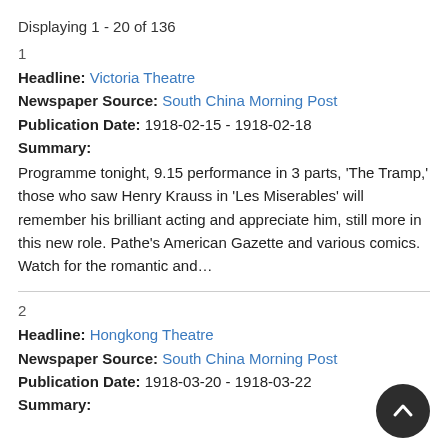Displaying 1 - 20 of 136
1
Headline: Victoria Theatre
Newspaper Source: South China Morning Post
Publication Date: 1918-02-15 - 1918-02-18
Summary:
Programme tonight, 9.15 performance in 3 parts, 'The Tramp,' those who saw Henry Krauss in 'Les Miserables' will remember his brilliant acting and appreciate him, still more in this new role. Pathe's American Gazette and various comics. Watch for the romantic and…
2
Headline: Hongkong Theatre
Newspaper Source: South China Morning Post
Publication Date: 1918-03-20 - 1918-03-22
Summary: